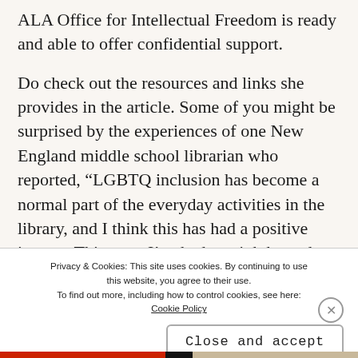ALA Office for Intellectual Freedom is ready and able to offer confidential support.
Do check out the resources and links she provides in the article. Some of you might be surprised by the experiences of one New England middle school librarian who reported, “LGBTQ inclusion has become a normal part of the everyday activities in the library, and I think this has had a positive impact. This year, I’ve had an eighth-grade student a [partial] a [partial]
Privacy & Cookies: This site uses cookies. By continuing to use this website, you agree to their use. To find out more, including how to control cookies, see here: Cookie Policy
Close and accept